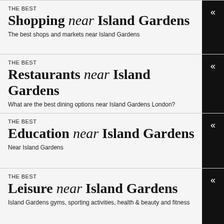THE BEST
Shopping near Island Gardens
The best shops and markets near Island Gardens
THE BEST
Restaurants near Island Gardens
What are the best dining options near Island Gardens London?
THE BEST
Education near Island Gardens
Near Island Gardens
THE BEST
Leisure near Island Gardens
Island Gardens gyms, sporting activities, health & beauty and fitness